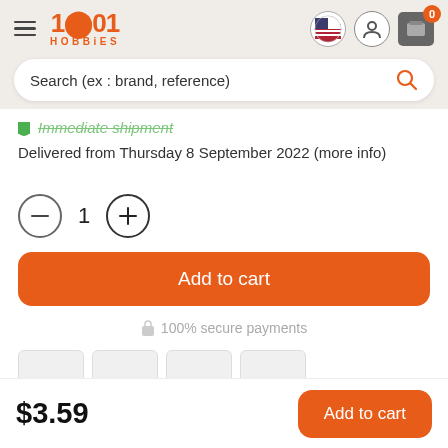[Figure (logo): 1001 Hobbies logo with hamburger menu, flag icon, user icon, cart icon with 0 badge]
Search (ex : brand, reference)
Immediate shipment
Delivered from Thursday 8 September 2022 (more info)
1
Add to cart
100% secure payments
$3.59
Add to cart